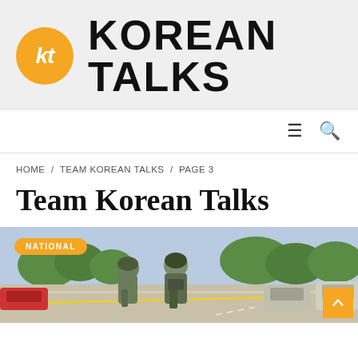[Figure (logo): Korean Talks logo: orange circle with 'kt' initials in white italic bold font, followed by bold black italic text 'KOREAN TALKS']
HOME / TEAM KOREAN TALKS / PAGE 3
Team Korean Talks
[Figure (photo): Outdoor scene with armed SWAT/military personnel in tactical gear standing on a road, with vehicles and trees in background. A yellow crime scene tape is visible. An orange 'NATIONAL' badge overlays the top-left and an orange back-to-top button appears at bottom-right.]